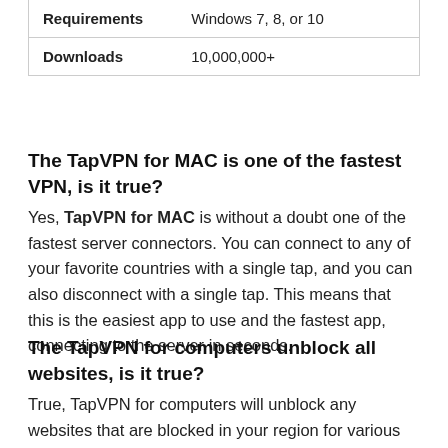| Requirements | Windows 7, 8, or 10 |
| Downloads | 10,000,000+ |
The TapVPN for MAC is one of the fastest VPN, is it true?
Yes, TapVPN for MAC is without a doubt one of the fastest server connectors. You can connect to any of your favorite countries with a single tap, and you can also disconnect with a single tap. This means that this is the easiest app to use and the fastest app, connecting to the server in seconds.
The TapVPN for computers unblock all websites, is it true?
True, TapVPN for computers will unblock any websites that are blocked in your region for various reasons or due to government restrictions. This means you can watch or search for anything you